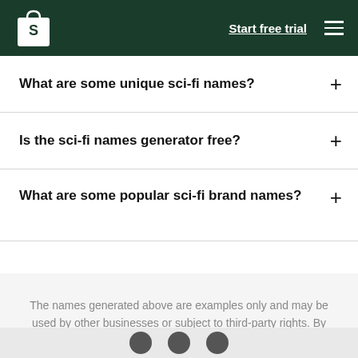Start free trial
What are some unique sci-fi names?
Is the sci-fi names generator free?
What are some popular sci-fi brand names?
The names generated above are examples only and may be used by other businesses or subject to third-party rights. By using them, you agree to these Terms.